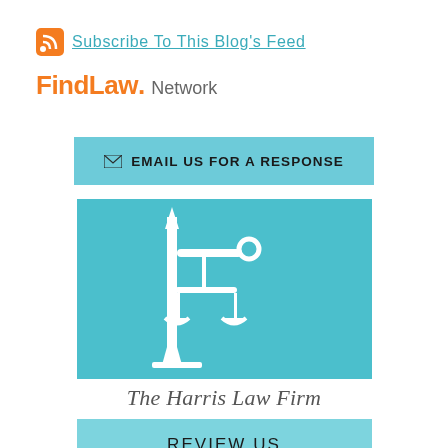Subscribe To This Blog's Feed
[Figure (logo): FindLaw Network logo with orange FindLaw text and gray Network text]
[Figure (other): Email us for a response button with teal background and envelope icon]
[Figure (logo): The Harris Law Firm logo: teal rectangle with white scales of justice icon and italic gray firm name below]
REVIEW US
OFFICE LOCATION